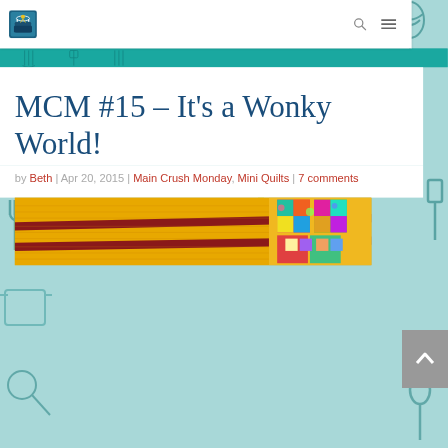[Figure (screenshot): Website background with teal/aqua kitchen utensils pattern tiles]
Navigation bar with logo (Wonky Quilts) and search/menu icons
MCM #15 – It's a Wonky World!
by Beth | Apr 20, 2015 | Main Crush Monday, Mini Quilts | 7 comments
[Figure (photo): Quilt with yellow fabric, dark red strips, and colorful patchwork squares partially visible at bottom of page]